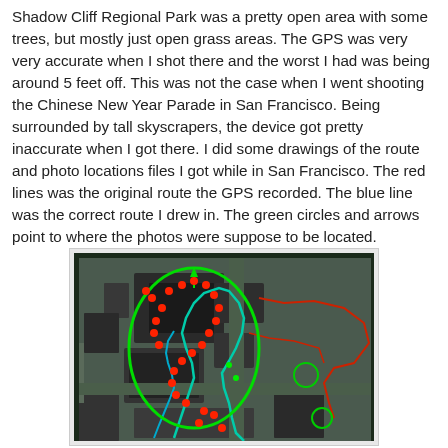Shadow Cliff Regional Park was a pretty open area with some trees, but mostly just open grass areas. The GPS was very very accurate when I shot there and the worst I had was being around 5 feet off. This was not the case when I went shooting the Chinese New Year Parade in San Francisco. Being surrounded by tall skyscrapers, the device got pretty inaccurate when I got there. I did some drawings of the route and photo locations files I got while in San Francisco. The red lines was the original route the GPS recorded. The blue line was the correct route I drew in. The green circles and arrows point to where the photos were suppose to be located.
[Figure (map): Aerial satellite map of San Francisco showing GPS route data overlaid. Red dots mark photo locations, green circles and arrows indicate where photos were supposed to be located, red lines show the original GPS-recorded route, and blue/teal lines show the corrected route drawn by the user.]